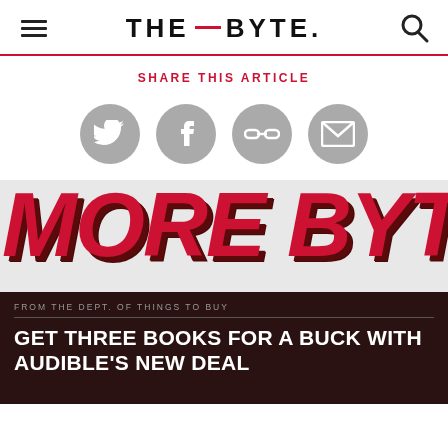THE BYTE.
SHARE THIS ARTICLE
[Figure (infographic): Four gray circular social share buttons: Twitter bird icon, Facebook icon, link/chain icon, email envelope icon]
[Figure (infographic): Large bold italic red text reading MORE BYTES on a light gray background with dark shadow effect]
FROM THE DEPT. OF THINGS TO BUY
GET THREE BOOKS FOR A BUCK WITH AUDIBLE'S NEW DEAL